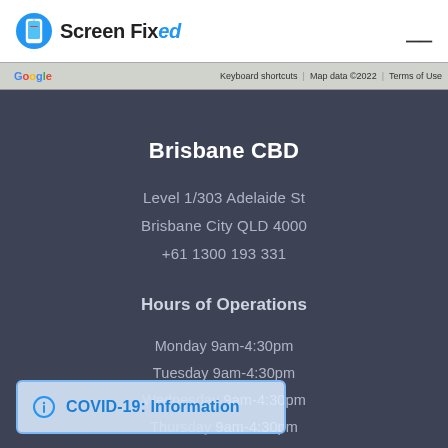Screen Fixed
[Figure (screenshot): Google Maps strip showing 'Keyboard shortcuts  Map data ©2022  Terms of Use']
Brisbane CBD
Level 1/303 Adelaide St
Brisbane City QLD 4000
+61 1300 193 331
Hours of Operations
Monday 9am-4:30pm
Tuesday 9am-4:30pm
Wednesday 9am-4:30pm
Thursday 9am-4:30pm
Friday 9am-4:30pm
Weekends: Closed
COVID-19: Information